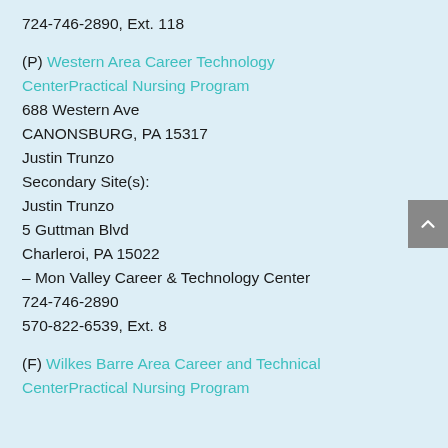724-746-2890, Ext. 118
(P) Western Area Career Technology CenterPractical Nursing Program
688 Western Ave
CANONSBURG, PA 15317
Justin Trunzo
Secondary Site(s):
Justin Trunzo
5 Guttman Blvd
Charleroi, PA 15022
– Mon Valley Career & Technology Center
724-746-2890
570-822-6539, Ext. 8
(F) Wilkes Barre Area Career and Technical CenterPractical Nursing Program